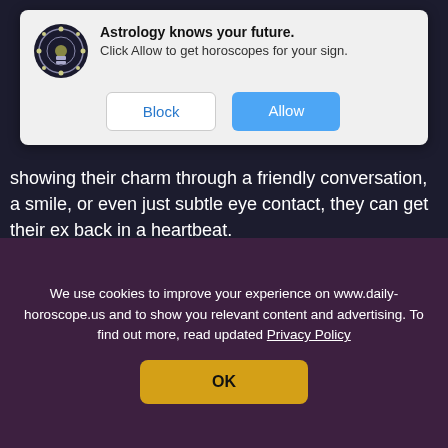[Figure (screenshot): Browser notification popup asking permission for astrology horoscope notifications. Shows circular astrology icon, title 'Astrology knows your future.', subtitle 'Click Allow to get horoscopes for your sign.', and two buttons: 'Block' (white) and 'Allow' (blue).]
showing their charm through a friendly conversation, a smile, or even just subtle eye contact, they can get their ex back in a heartbeat.
[Figure (illustration): Promotional image split in two: left side black background with italic cursive text 'Tips to get Ex back for' and bold red text 'LEO'; right side pink background showing a man's face smiling/smirking.]
We use cookies to improve your experience on www.daily-horoscope.us and to show you relevant content and advertising. To find out more, read updated Privacy Policy
OK